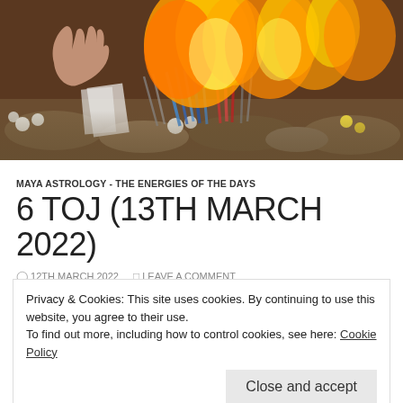[Figure (photo): A fire ritual scene with hands, colorful candles/sticks burning, flowers and stones in foreground]
MAYA ASTROLOGY - THE ENERGIES OF THE DAYS
6 TOJ (13TH MARCH 2022)
12TH MARCH 2022   LEAVE A COMMENT
Privacy & Cookies: This site uses cookies. By continuing to use this website, you agree to their use.
To find out more, including how to control cookies, see here: Cookie Policy
Close and accept
made.